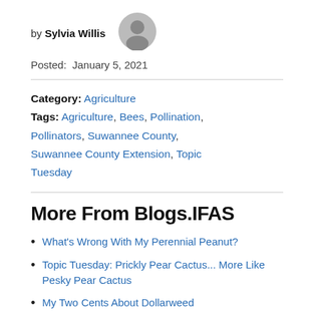by Sylvia Willis
[Figure (illustration): Gray circular avatar / profile placeholder icon]
Posted: January 5, 2021
Category: Agriculture
Tags: Agriculture, Bees, Pollination, Pollinators, Suwannee County, Suwannee County Extension, Topic Tuesday
More From Blogs.IFAS
What's Wrong With My Perennial Peanut?
Topic Tuesday: Prickly Pear Cactus... More Like Pesky Pear Cactus
My Two Cents About Dollarweed
Beneficial Algae Or Unsightly Pond Scum?